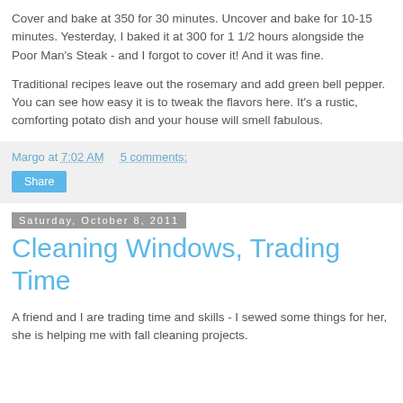Cover and bake at 350 for 30 minutes.  Uncover and bake for 10-15 minutes.  Yesterday, I baked it at 300 for 1 1/2 hours alongside the Poor Man's Steak - and I forgot to cover it!  And it was fine.

Traditional recipes leave out the rosemary and add green bell pepper.  You can see how easy it is to tweak the flavors here.  It's a rustic, comforting potato dish and your house will smell fabulous.
Margo at 7:02 AM    5 comments:
Share
Saturday, October 8, 2011
Cleaning Windows, Trading Time
A friend and I are trading time and skills - I sewed some things for her, she is helping me with fall cleaning projects.